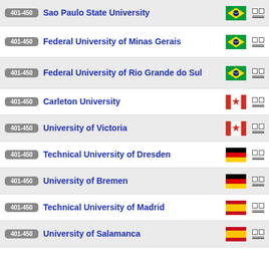401-450 Sao Paulo State University [Brazil]
401-450 Federal University of Minas Gerais [Brazil]
401-450 Federal University of Rio Grande do Sul [Brazil]
401-450 Carleton University [Canada]
401-450 University of Victoria [Canada]
401-450 Technical University of Dresden [Germany]
401-450 University of Bremen [Germany]
401-450 Technical University of Madrid [Spain]
401-450 University of Salamanca [Spain]